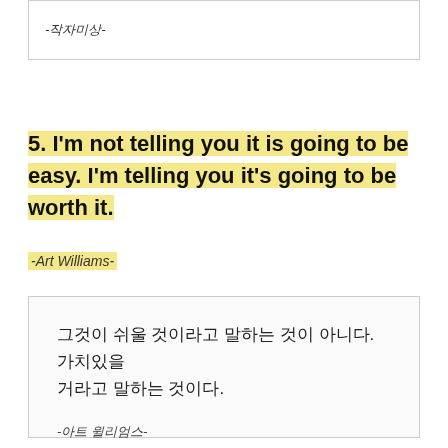-작자미상-
5. I'm not telling you it is going to be easy. I'm telling you it's going to be worth it.
-Art Williams-
그것이 쉬울 것이라고 말하는 것이 아니다. 가치있을 거라고 말하는 것이다.
-아트 윌리엄스-